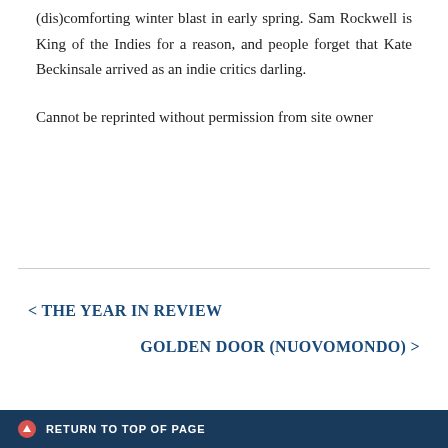(dis)comforting winter blast in early spring. Sam Rockwell is King of the Indies for a reason, and people forget that Kate Beckinsale arrived as an indie critics darling.
Cannot be reprinted without permission from site owner
< THE YEAR IN REVIEW
GOLDEN DOOR (NUOVOMONDO) >
RETURN TO TOP OF PAGE